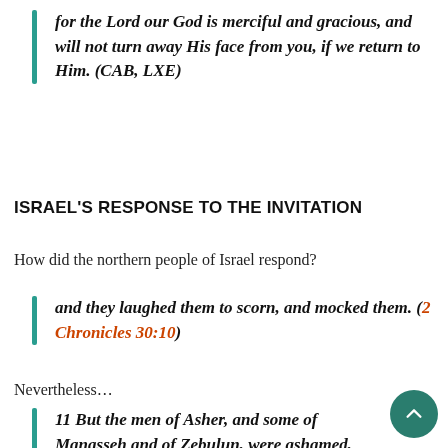for the Lord our God is merciful and gracious, and will not turn away His face from you, if we return to Him. (CAB, LXE)
ISRAEL'S RESPONSE TO THE INVITATION
How did the northern people of Israel respond?
and they laughed them to scorn, and mocked them. (2 Chronicles 30:10)
Nevertheless…
11 But the men of Asher, and some of Manasseh and of Zebulun, were ashamed, and came to Jerusalem and Judah.